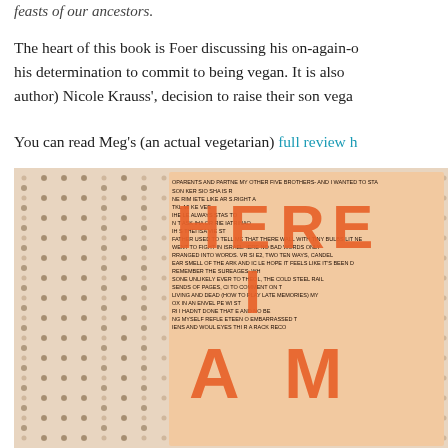feasts of our ancestors.
The heart of this book is Foer discussing his on-again-off-again vegetarianism and his determination to commit to being vegan. It is also about his (now ex-wife and fellow author) Nicole Krauss', decision to raise their son vega...
You can read Meg's (an actual vegetarian) full review h...
[Figure (photo): Book cover of 'Here I Am' with dense handwritten text in orange and dark ink on a textured background, showing large letter forms H, E, R, E, I, A, M]